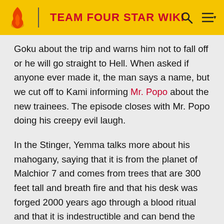TEAM FOUR STAR WIKI
Goku about the trip and warns him not to fall off or he will go straight to Hell. When asked if anyone ever made it, the man says a name, but we cut off to Kami informing Mr. Popo about the new trainees. The episode closes with Mr. Popo doing his creepy evil laugh.
In the Stinger, Yemma talks more about his mahogany, saying that it is from the planet of Malchior 7 and comes from trees that are 300 feet tall and breath fire and that his desk was forged 2000 years ago through a blood ritual and that it is indestructible and can bend the fabrics of reality itself. Also, that it is an expensive material. Of course.
[Figure (other): Gray placeholder image block at bottom of page]